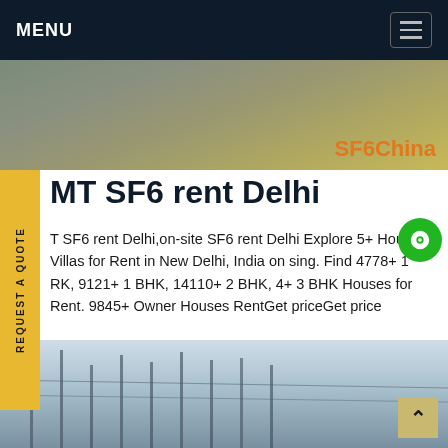MENU
[Figure (photo): Aerial or ground-level view of a road or industrial site with yellow markings, with 'SF6China' text overlay in orange.]
MT SF6 rent Delhi
T SF6 rent Delhi,on-site SF6 rent Delhi Explore 5+ Houses Villas for Rent in New Delhi, India on sing. Find 4778+ 1 RK, 9121+ 1 BHK, 14110+ 2 BHK, 4+ 3 BHK Houses for Rent. 9845+ Owner Houses RentGet priceGet price
[Figure (photo): Electric transmission towers and power lines against a sky background.]